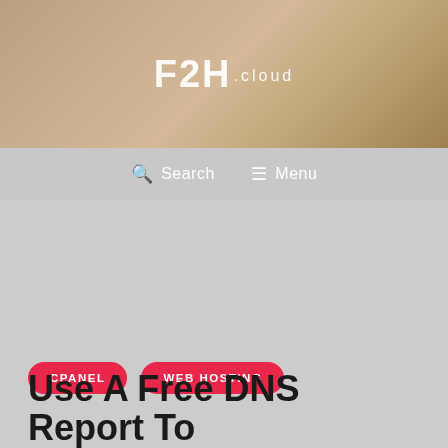[Figure (screenshot): Website header with sandy/earthy background image and F2H.cloud logo centered in white text]
🔍 Search  ☰ Menu
[Figure (other): Large gray advertisement or placeholder content area]
CPANEL
WEB HOSTING
Use A Free DNS Report To